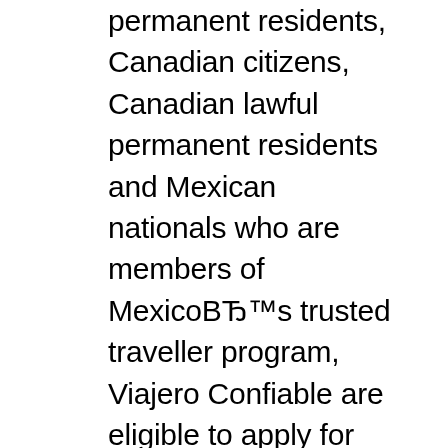permanent residents, Canadian citizens, Canadian lawful permanent residents and Mexican nationals who are members of MexicoBh™s trusted traveller program, Viajero Confiable are eligible to apply for membership in the U.S./Canada NEXUS program.If you are under the age of 18, you must have your parent or legal guardianBh™s consent to 10/6/2019B B· List of countries that you can travel visa-free with US visa. More and more countries are offering visa exemption to valid US visa holders. VISA-FREE travel with United States Green Card (Permanent Resident Card) If you donBh™t have a US visa already, itBh™s time to apply for one and add another 37 to your list